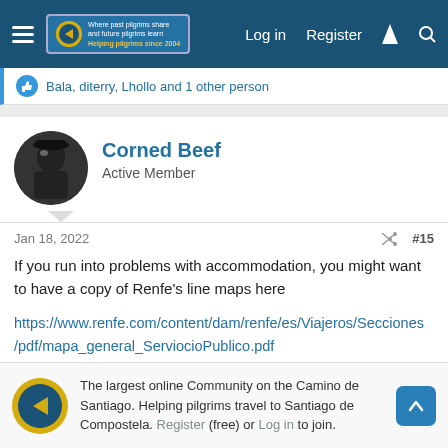Log in  Register
Bala, diterry, Lhollo and 1 other person
Corned Beef
Active Member
Jan 18, 2022	#15
If you run into problems with accommodation, you might want to have a copy of Renfe's line maps here

https://www.renfe.com/content/dam/renfe/es/Viajeros/Secciones/pdf/mapa_general_ServiocioPublico.pdf

There are trains from Sahagun, El Burgo Ranero, Santas Martas and Sahagun to...
The largest online Community on the Camino de Santiago. Helping pilgrims travel to Santiago de Compostela. Register (free) or Log in to join.